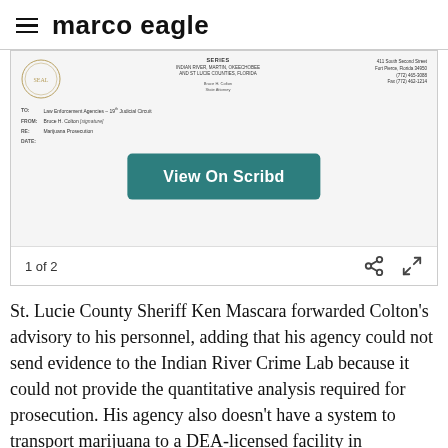marco eagle
[Figure (screenshot): Scanned memo from Bruce H. Colton, State Attorney, addressed to Law Enforcement Agencies of the 19th Judicial Circuit, with a 'View On Scribd' button overlaid on the document viewer.]
1 of 2
St. Lucie County Sheriff Ken Mascara forwarded Colton's advisory to his personnel, adding that his agency could not send evidence to the Indian River Crime Lab because it could not provide the quantitative analysis required for prosecution. His agency also doesn't have a system to transport marijuana to a DEA-licensed facility in